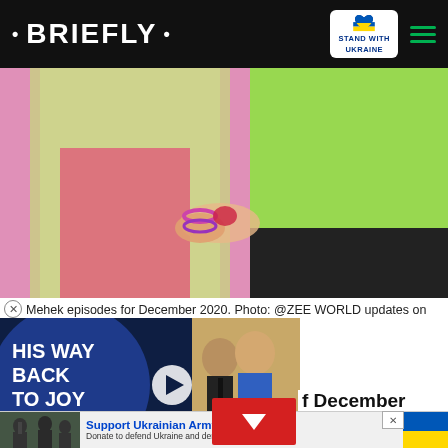• BRIEFLY •
[Figure (photo): Two people in traditional South Asian clothing — one in pink and green outfit with bangles, another in a green shirt — holding hands]
Mehek episodes for December 2020. Photo: @ZEE WORLD updates on
[Figure (screenshot): Video advertisement for 'HIS WAY BACK TO JOY' showing a couple, with a play button overlay]
f December 2020
[Figure (photo): Support Ukrainian Army - Donate to defend Ukraine and democracy advertisement banner with Ukrainian soldiers image]